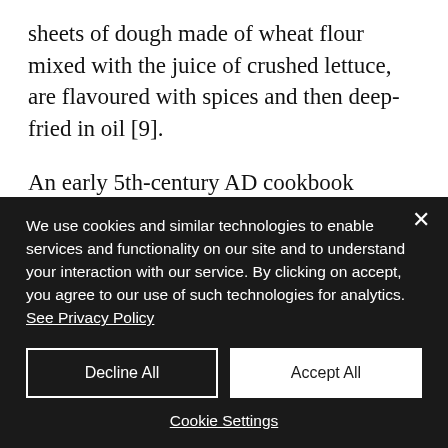sheets of dough made of wheat flour mixed with the juice of crushed lettuce, are flavoured with spices and then deep-fried in oil [9].
An early 5th-century AD cookbook describes a dish called lagana that consisted of layers of dough with meat stuffing. This has given credence to the misleading claim that the ancient
We use cookies and similar technologies to enable services and functionality on our site and to understand your interaction with our service. By clicking on accept, you agree to our use of such technologies for analytics. See Privacy Policy